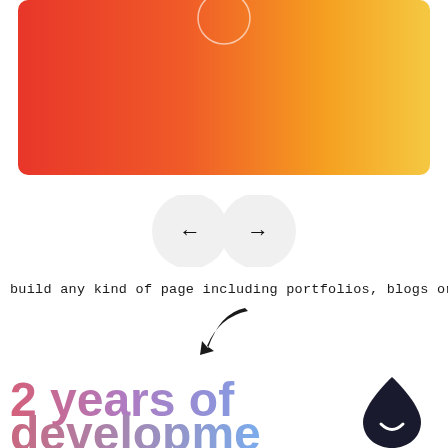[Figure (illustration): Gradient banner with red-orange to yellow gradient, with a circle outline at the top center, partially cropped]
[Figure (illustration): Two circular navigation buttons side by side with left arrow and right arrow]
build any kind of page including portfolios, blogs or even shop!
[Figure (illustration): Curved black arrow pointing downward-left]
2 years of development
[Figure (logo): Dark teardrop/droplet shape with a smile, logo icon]